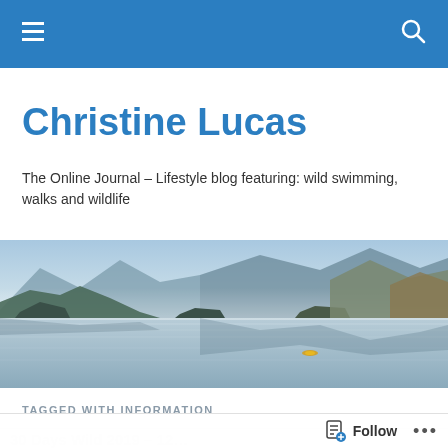Navigation bar with hamburger menu and search icon
Christine Lucas
The Online Journal – Lifestyle blog featuring: wild swimming, walks and wildlife
[Figure (photo): Landscape photo of a calm lake with mountains and mist in the background, and a small kayaker in yellow on the water. Clear blue sky reflected in the still water.]
TAGGED WITH INFORMATION
30 Days Wild 2019 – 12…